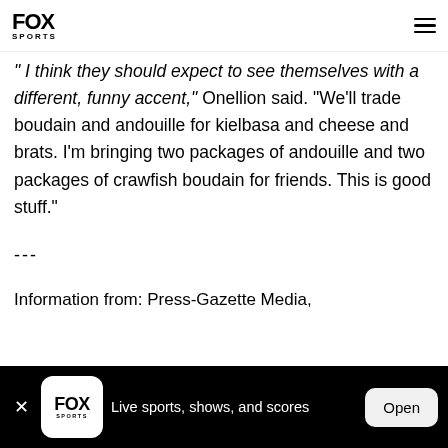FOX SPORTS
" I think they should expect to see themselves with a different, funny accent," Onellion said. "We'll trade boudain and andouille for kielbasa and cheese and brats. I'm bringing two packages of andouille and two packages of crawfish boudain for friends. This is good stuff."
---
Information from: Press-Gazette Media,
FOX SPORTS — Live sports, shows, and scores — Open